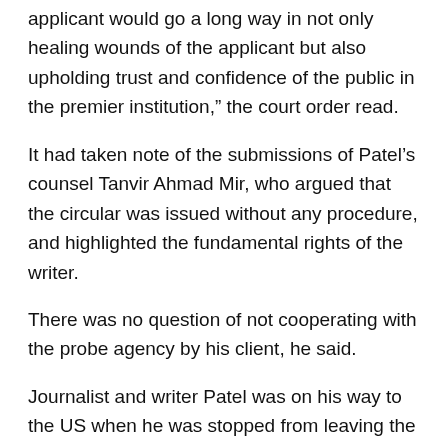applicant would go a long way in not only healing wounds of the applicant but also upholding trust and confidence of the public in the premier institution," the court order read.
It had taken note of the submissions of Patel's counsel Tanvir Ahmad Mir, who argued that the circular was issued without any procedure, and highlighted the fundamental rights of the writer.
There was no question of not cooperating with the probe agency by his client, he said.
Journalist and writer Patel was on his way to the US when he was stopped from leaving the country at the Bengaluru airport on Wednesday citing a lookout circular issued against him by the CBI in connection with an FCRA (Foreign Contribution (Regulation) Act, 2010 case.